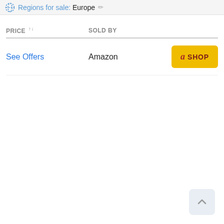Regions for sale: Europe
| PRICE | SOLD BY |  |
| --- | --- | --- |
| See Offers | Amazon | SHOP |
[Figure (other): Back to top button arrow icon in bottom right corner]